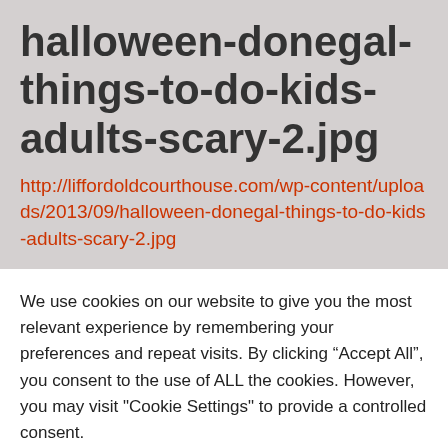halloween-donegal-things-to-do-kids-adults-scary-2.jpg
http://liffordoldcourthouse.com/wp-content/uploads/2013/09/halloween-donegal-things-to-do-kids-adults-scary-2.jpg
We use cookies on our website to give you the most relevant experience by remembering your preferences and repeat visits. By clicking “Accept All”, you consent to the use of ALL the cookies. However, you may visit "Cookie Settings" to provide a controlled consent.
Cookie Settings
Accept All